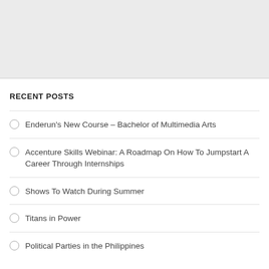RECENT POSTS
Enderun's New Course – Bachelor of Multimedia Arts
Accenture Skills Webinar: A Roadmap On How To Jumpstart A Career Through Internships
Shows To Watch During Summer
Titans in Power
Political Parties in the Philippines